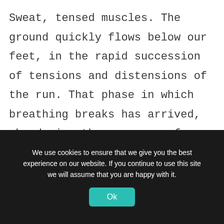Sweat, tensed muscles. The ground quickly flows below our feet, in the rapid succession of tensions and distensions of the run. That phase in which breathing breaks has arrived, abandoning the sequence of wheezy and syncopated breaths, to arrive at the condition in
We use cookies to ensure that we give you the best experience on our website. If you continue to use this site we will assume that you are happy with it.